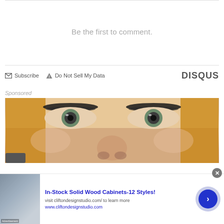Be the first to comment.
Subscribe  Do Not Sell My Data  DISQUS
Sponsored
[Figure (photo): Close-up photo of a person's face showing eyes, nose, and cheeks with blonde hair]
In-Stock Solid Wood Cabinets-12 Styles!
visit cliftondesignstudio.com/ to learn more
www.cliftondesignstudio.com